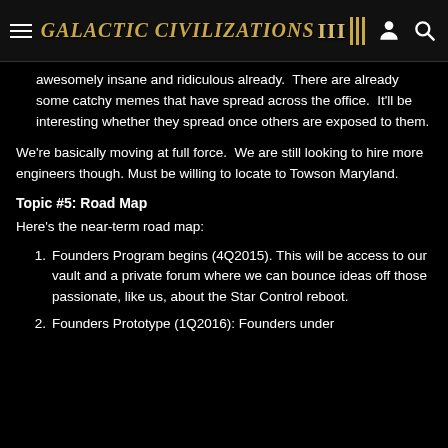Galactic Civilizations III
awesomely insane and ridiculous already.  There are already some catchy memes that have spread across the office.  It'll be interesting whether they spread once others are exposed to them.
We're basically moving at full force.  We are still looking to hire more engineers though. Must be willing to locate to Towson Maryland.
Topic #5: Road Map
Here's the near-term road map:
Founders Program begins (4Q2015). This will be access to our vault and a private forum where we can bounce ideas off those passionate, like us, about the Star Control reboot.
Founders Prototype (1Q2016): Founders under